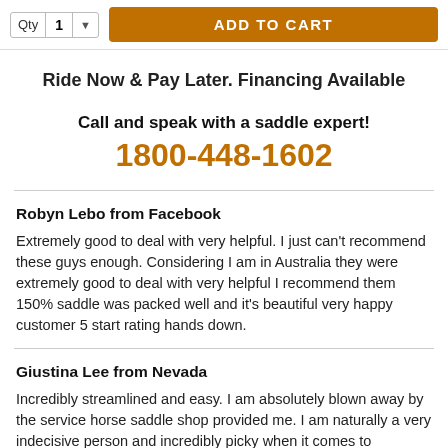[Figure (screenshot): Top bar showing quantity selector (Qty 1) and orange ADD TO CART button]
Ride Now & Pay Later. Financing Available
Call and speak with a saddle expert!
1800-448-1602
Robyn Lebo from Facebook
Extremely good to deal with very helpful. I just can't recommend these guys enough. Considering I am in Australia they were extremely good to deal with very helpful I recommend them 150% saddle was packed well and it's beautiful very happy customer 5 start rating hands down.
Giustina Lee from Nevada
Incredibly streamlined and easy. I am absolutely blown away by the service horse saddle shop provided me. I am naturally a very indecisive person and incredibly picky when it comes to